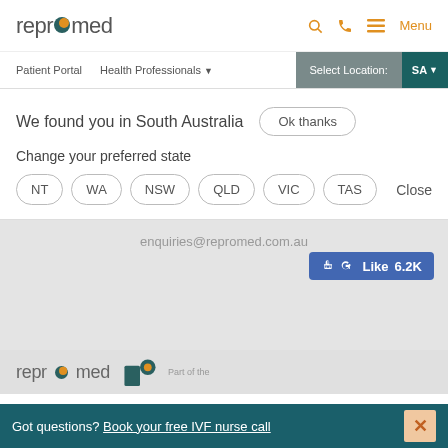[Figure (logo): Repromed logo with teal/orange circular dot between 'repro' and 'med']
Patient Portal  Health Professionals ▼  Select Location  SA ▼
We found you in South Australia
Ok thanks
Change your preferred state
NT  WA  NSW  QLD  VIC  TAS  Close
enquiries@repromed.com.au
Like 6.2K
[Figure (logo): Repromed bottom logo with IVF Australia logo and 'Part of the' text]
Got questions? Book your free IVF nurse call